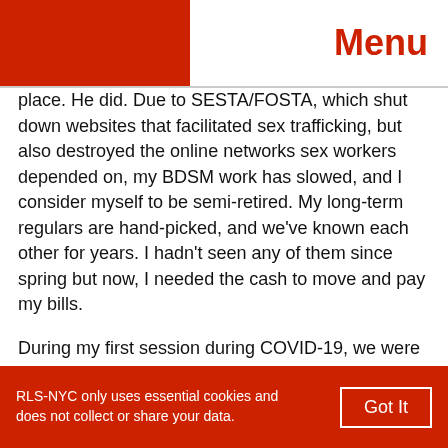Menu
place. He did. Due to SESTA/FOSTA, which shut down websites that facilitated sex trafficking, but also destroyed the online networks sex workers depended on, my BDSM work has slowed, and I consider myself to be semi-retired. My long-term regulars are hand-picked, and we've known each other for years. I hadn't seen any of them since spring but now, I needed the cash to move and pay my bills.
During my first session during COVID-19, we were [EN] red of exposure. He's a nipple torture guy. Should it be a car date? Are hotels safe? How safe is being in the room with each other? We have a famili...
RLS-NYC only uses essential cookies and does not collect or share your data. Got It